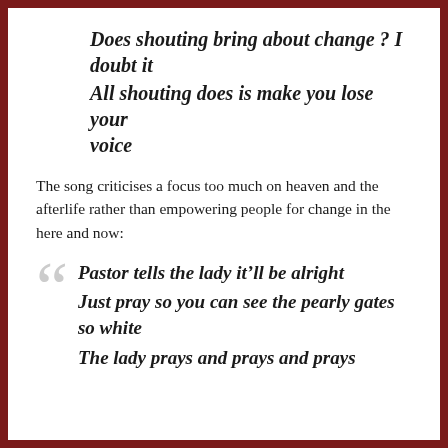Does shouting bring about change ? I doubt it
All shouting does is make you lose your voice
The song criticises a focus too much on heaven and the afterlife rather than empowering people for change in the here and now:
Pastor tells the lady it'll be alright
Just pray so you can see the pearly gates so white
The lady prays and prays and prays